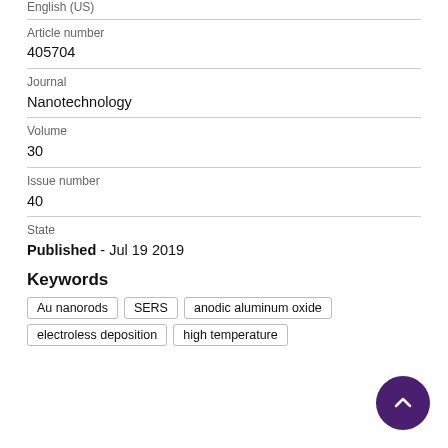English (US)
Article number
405704
Journal
Nanotechnology
Volume
30
Issue number
40
State
Published - Jul 19 2019
Keywords
Au nanorods
SERS
anodic aluminum oxide
electroless deposition
high temperature